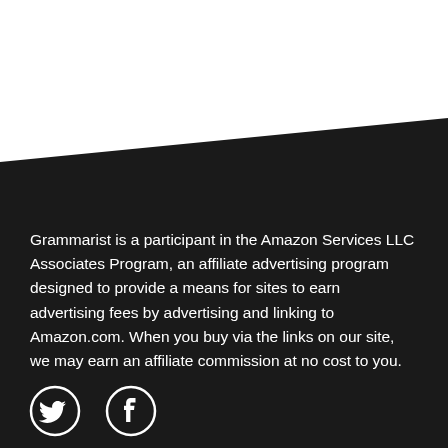[Figure (illustration): Dark diagonal background section covering the bottom two-thirds of the page, with white upper portion. The dark area has a diagonal top edge going from lower-left to upper-right.]
Grammarist is a participant in the Amazon Services LLC Associates Program, an affiliate advertising program designed to provide a means for sites to earn advertising fees by advertising and linking to Amazon.com. When you buy via the links on our site, we may earn an affiliate commission at no cost to you.
[Figure (illustration): Social media icons: Twitter bird icon and Facebook 'f' icon, both white outline circles on dark background.]